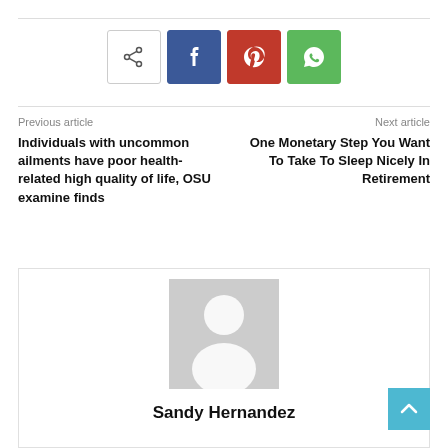[Figure (infographic): Social share buttons: share icon (outline), Facebook (blue), Pinterest (red/pink), WhatsApp (green)]
Previous article
Individuals with uncommon ailments have poor health-related high quality of life, OSU examine finds
Next article
One Monetary Step You Want To Take To Sleep Nicely In Retirement
[Figure (photo): Gray placeholder avatar silhouette (person outline)]
Sandy Hernandez